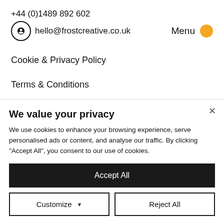+44 (0)1489 892 602
hello@frostcreative.co.uk
Menu
Cookie & Privacy Policy
Terms & Conditions
LinkedIn
We value your privacy
We use cookies to enhance your browsing experience, serve personalised ads or content, and analyse our traffic. By clicking "Accept All", you consent to our use of cookies.
Accept All
Customize
Reject All